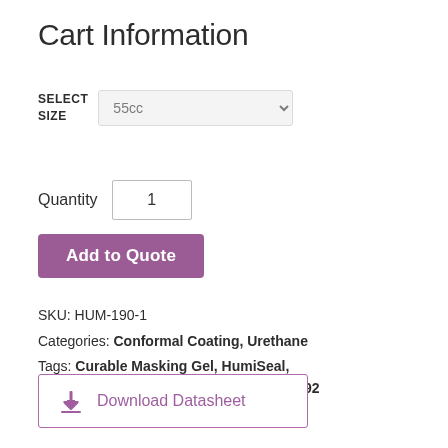Cart Information
SELECT SIZE  55cc
Quantity  1
Add to Quote
SKU: HUM-190-1
Categories: Conformal Coating, Urethane
Tags: Curable Masking Gel, HumiSeal, Masking Gel, UV Masking Gel, UV92, UV92 UV Curable Masking Gel
Download Datasheet